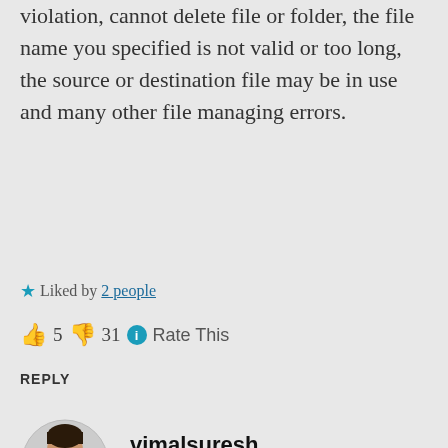violation, cannot delete file or folder, the file name you specified is not valid or too long, the source or destination file may be in use and many other file managing errors.
★ Liked by 2 people
👍 5 👎 31 ℹ Rate This
REPLY
vimalsuresh
AUGUST 21, 2013 AT 4:20 PM
That's nice! I would definitely give it a try. Thank you! 🙂